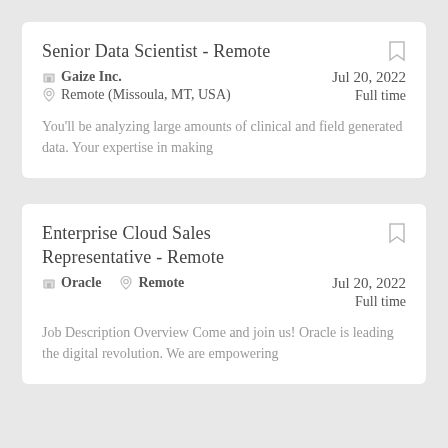Senior Data Scientist - Remote
Gaize Inc. | Remote (Missoula, MT, USA) | Jul 20, 2022 | Full time
You'll be analyzing large amounts of clinical and field generated data. Your expertise in making
Enterprise Cloud Sales Representative - Remote
Oracle | Remote | Jul 20, 2022 | Full time
Job Description Overview Come and join us! Oracle is leading the digital revolution. We are empowering